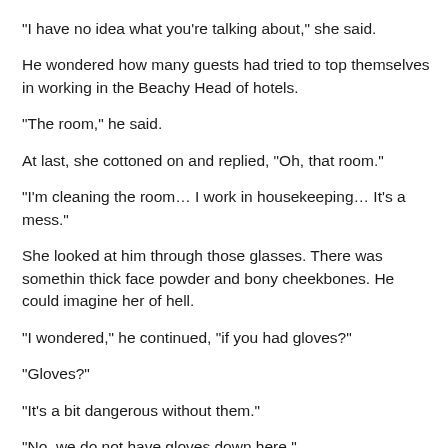“I have no idea what you’re talking about,” she said.
He wondered how many guests had tried to top themselves in working in the Beachy Head of hotels.
“The room,” he said.
At last, she cottoned on and replied, “Oh, that room.”
“I’m cleaning the room… I work in housekeeping… It’s a mess.”
She looked at him through those glasses. There was somethin thick face powder and bony cheekbones. He could imagine her of hell.
“I wondered,” he continued, “if you had gloves?”
“Gloves?”
“It’s a bit dangerous without them.”
“No, we do not have gloves down here.”